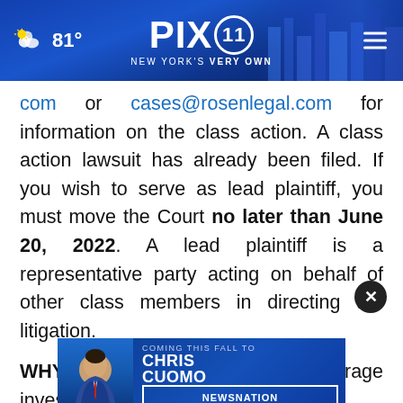PIX 11 — NEW YORK'S VERY OWN | 81°
com or cases@rosenlegal.com for information on the class action. A class action lawsuit has already been filed. If you wish to serve as lead plaintiff, you must move the Court no later than June 20, 2022. A lead plaintiff is a representative party acting on behalf of other class members in directing the litigation.
WHY ROSEN LAW: We encourage investors to select qualified counsel with a track record of success in prosecuting securities class actions. ...suing notices do not have comparable experience
[Figure (screenshot): Advertisement overlay: Chris Cuomo — Coming This Fall to NewsNation. Find Your Channel.]